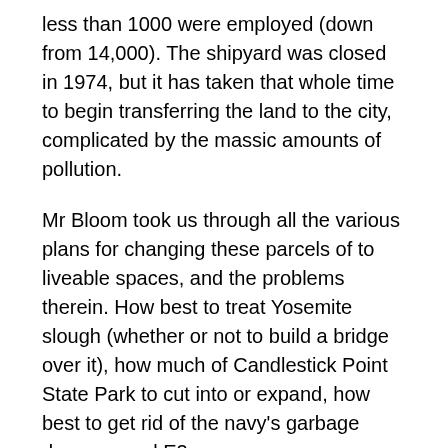less than 1000 were employed (down from 14,000). The shipyard was closed in 1974, but it has taken that whole time to begin transferring the land to the city, complicated by the massic amounts of pollution.
Mr Bloom took us through all the various plans for changing these parcels of to liveable spaces, and the problems therein. How best to treat Yosemite slough (whether or not to build a bridge over it), how much of Candlestick Point State Park to cut into or expand, how best to get rid of the navy's garbage dump, parcel E2.
He showed us the proposals and alternates, and all the proposals for where Candlestick Park might be built (at the end of the day, it seemed that the shipyard, given the transit needs, is a tremendously poor place to build a stadium).